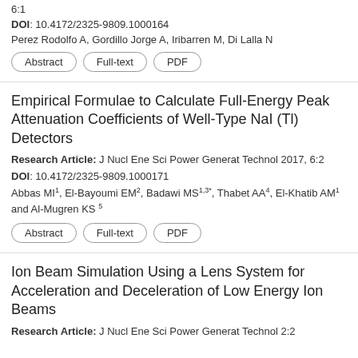6:1
DOI: 10.4172/2325-9809.1000164
Perez Rodolfo A, Gordillo Jorge A, Iribarren M, Di Lalla N
Abstract
Full-text
PDF
Empirical Formulae to Calculate Full-Energy Peak Attenuation Coefficients of Well-Type NaI (Tl) Detectors
Research Article: J Nucl Ene Sci Power Generat Technol 2017, 6:2
DOI: 10.4172/2325-9809.1000171
Abbas MI1, El-Bayoumi EM2, Badawi MS1,3*, Thabet AA4, El-Khatib AM1 and Al-Mugren KS 5
Abstract
Full-text
PDF
Ion Beam Simulation Using a Lens System for Acceleration and Deceleration of Low Energy Ion Beams
Research Article: J Nucl Ene Sci Power Generat Technol 2:2